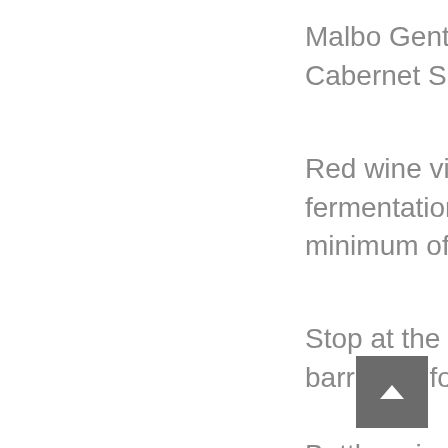Malbo Gentile with small blend of Cabernet Sauvignon.
Red wine vinification with fermentation on the skins for a minimum of 10-12 days.
Stop at the third passage barriques for 12 months.
Bottle aging for at least 48 months.
Intense fruit of plum and blackberry, tobacco and sweet spices, balanced with vivid acidity and tight